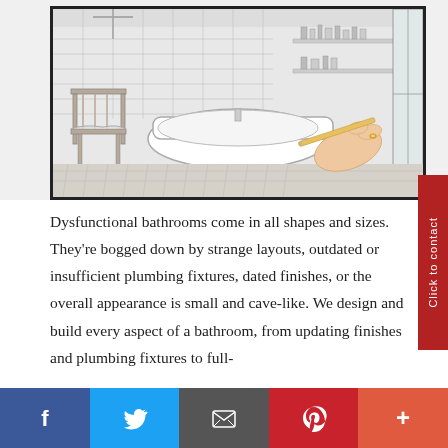[Figure (photo): A bathroom interior design sketch/rendering showing a white freestanding bathtub, a wooden chair, shelves with toiletries, hexagonal tile floor, and a hand holding a pencil drawing the scene — half sketch, half real.]
Dysfunctional bathrooms come in all shapes and sizes. They're bogged down by strange layouts, outdated or insufficient plumbing fixtures, dated finishes, or the overall appearance is small and cave-like. We design and build every aspect of a bathroom, from updating finishes and plumbing fixtures to full-
[Figure (other): Social media share bar with Facebook, Twitter, Email, Pinterest, and More (+) buttons]